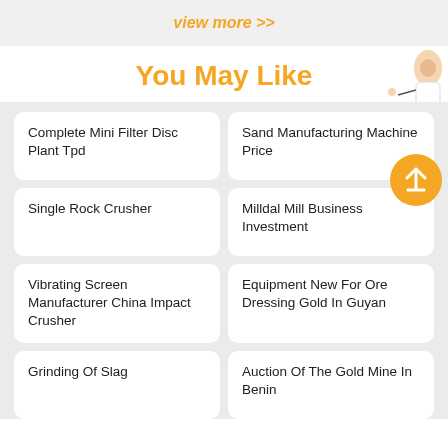view more >>
You May Like
Complete Mini Filter Disc Plant Tpd
Sand Manufacturing Machine Price
Single Rock Crusher
Milldal Mill Business Investment
Vibrating Screen Manufacturer China Impact Crusher
Equipment New For Ore Dressing Gold In Guyan
Grinding Of Slag
Auction Of The Gold Mine In Benin